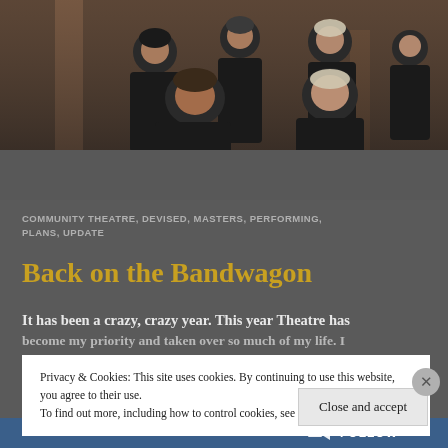[Figure (photo): Group of people wearing black t-shirts posing together in what appears to be a theatre or historic building interior]
COMMUNITY THEATRE, DEVISED, MASTERS, PERFORMING, PLANS, UPDATE
Back on the Bandwagon
It has been a crazy, crazy year. This year Theatre has become my priority and taken over so much of my life. I
Privacy & Cookies: This site uses cookies. By continuing to use this website, you agree to their use.
To find out more, including how to control cookies, see here: Cookie Policy
Close and accept
FOLLOW ...